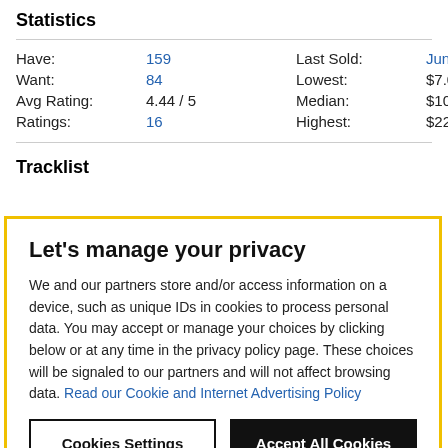Statistics
| Have: | 159 | Last Sold: | Jun 19, 2022 |
| Want: | 84 | Lowest: | $7.00 |
| Avg Rating: | 4.44 / 5 | Median: | $10.00 |
| Ratings: | 16 | Highest: | $22.00 |
Tracklist
Let's manage your privacy
We and our partners store and/or access information on a device, such as unique IDs in cookies to process personal data. You may accept or manage your choices by clicking below or at any time in the privacy policy page. These choices will be signaled to our partners and will not affect browsing data. Read our Cookie and Internet Advertising Policy
Cookies Settings
Accept All Cookies